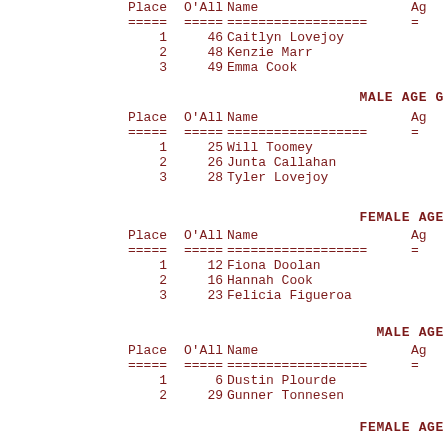| Place | O'All | Name | Ag |
| --- | --- | --- | --- |
| 1 | 46 | Caitlyn Lovejoy |  |
| 2 | 48 | Kenzie Marr |  |
| 3 | 49 | Emma Cook |  |
MALE AGE G
| Place | O'All | Name | Ag |
| --- | --- | --- | --- |
| 1 | 25 | Will Toomey |  |
| 2 | 26 | Junta Callahan |  |
| 3 | 28 | Tyler Lovejoy |  |
FEMALE AGE
| Place | O'All | Name | Ag |
| --- | --- | --- | --- |
| 1 | 12 | Fiona Doolan |  |
| 2 | 16 | Hannah Cook |  |
| 3 | 23 | Felicia Figueroa |  |
MALE AGE
| Place | O'All | Name | Ag |
| --- | --- | --- | --- |
| 1 | 6 | Dustin Plourde |  |
| 2 | 29 | Gunner Tonnesen |  |
FEMALE AGE